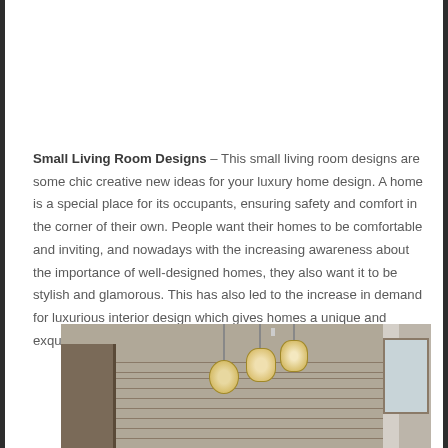Small Living Room Designs – This small living room designs are some chic creative new ideas for your luxury home design. A home is a special place for its occupants, ensuring safety and comfort in the corner of their own. People want their homes to be comfortable and inviting, and nowadays with the increasing awareness about the importance of well-designed homes, they also want it to be stylish and glamorous. This has also led to the increase in demand for luxurious interior design which gives homes a unique and exquisite look.
[Figure (photo): Interior photo of a modern living/dining area with pendant lights hanging from the ceiling, a stone accent wall, dark wood window frames on the left, sheer curtains on the right, and a window with blinds on the far right.]